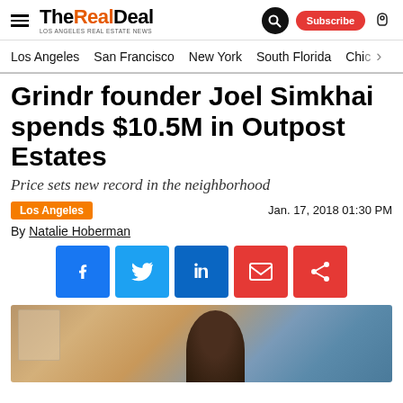The Real Deal — LOS ANGELES REAL ESTATE NEWS
Los Angeles | San Francisco | New York | South Florida | Chi…
Grindr founder Joel Simkhai spends $10.5M in Outpost Estates
Price sets new record in the neighborhood
Los Angeles   Jan. 17, 2018 01:30 PM
By Natalie Hoberman
[Figure (other): Social sharing buttons: Facebook, Twitter, LinkedIn, Email, Share]
[Figure (photo): Photo of a man (Joel Simkhai) with a luxury home with a view of the city in the background]